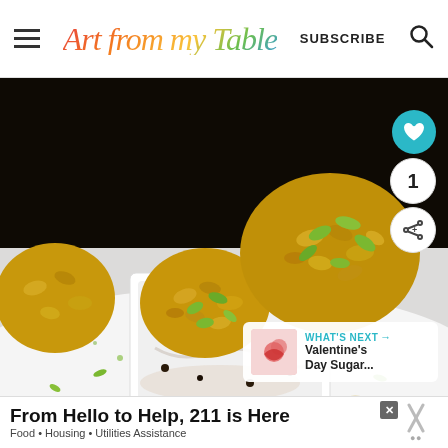Art from my Table | SUBSCRIBE
[Figure (photo): Food photography showing golden/yellow oat and pumpkin seed energy balls stacked in a small white square ceramic dish, with some chocolate chips visible, tied with golden twine, on a white surface with scattered pumpkin seeds]
1
WHAT'S NEXT → Valentine's Day Sugar...
From Hello to Help, 211 is Here
Food • Housing • Utilities Assistance